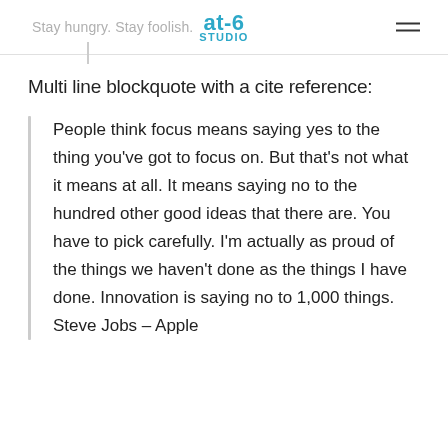Stay hungry. Stay foolish. at-6 Studio
Multi line blockquote with a cite reference:
People think focus means saying yes to the thing you’ve got to focus on. But that’s not what it means at all. It means saying no to the hundred other good ideas that there are. You have to pick carefully. I’m actually as proud of the things we haven’t done as the things I have done. Innovation is saying no to 1,000 things. Steve Jobs – Apple